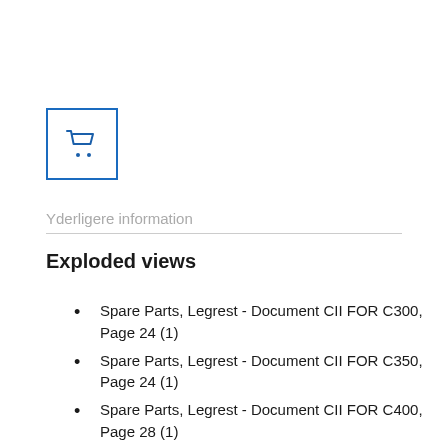[Figure (other): Shopping cart icon button with blue border]
Yderligere information
Exploded views
Spare Parts, Legrest - Document CII FOR C300, Page 24 (1)
Spare Parts, Legrest - Document CII FOR C350, Page 24 (1)
Spare Parts, Legrest - Document CII FOR C400, Page 28 (1)
Spare Parts, Legrest - Document CII FOR C350, Page 28 (1)